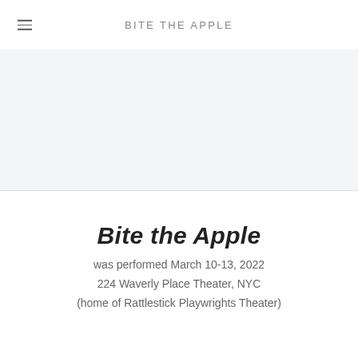BITE THE APPLE
[Figure (other): Light gray placeholder image area]
Bite the Apple
was performed March 10-13, 2022
224 Waverly Place Theater, NYC
(home of Rattlestick Playwrights Theater)